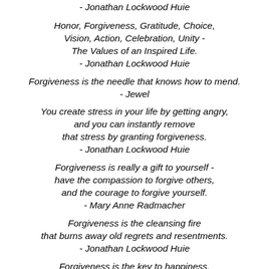- Jonathan Lockwood Huie
Honor, Forgiveness, Gratitude, Choice, Vision, Action, Celebration, Unity - The Values of an Inspired Life. - Jonathan Lockwood Huie
Forgiveness is the needle that knows how to mend. - Jewel
You create stress in your life by getting angry, and you can instantly remove that stress by granting forgiveness. - Jonathan Lockwood Huie
Forgiveness is really a gift to yourself - have the compassion to forgive others, and the courage to forgive yourself. - Mary Anne Radmacher
Forgiveness is the cleansing fire that burns away old regrets and resentments. - Jonathan Lockwood Huie
Forgiveness is the key to happiness. - A Course In Miracles